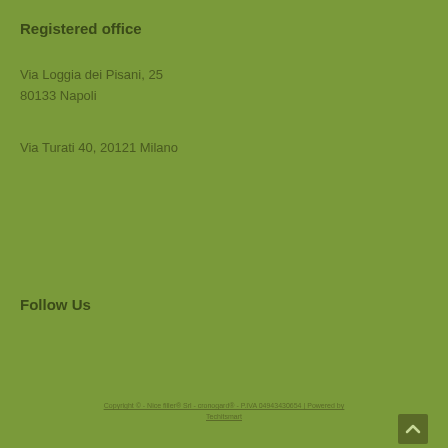Registered office
Via Loggia dei Pisani, 25
80133 Napoli
Via Turati 40, 20121 Milano
Follow Us
Copyright © - Nice filler® Srl - cronogard® - P.IVA 04943430654 | Powered by Techitsmart